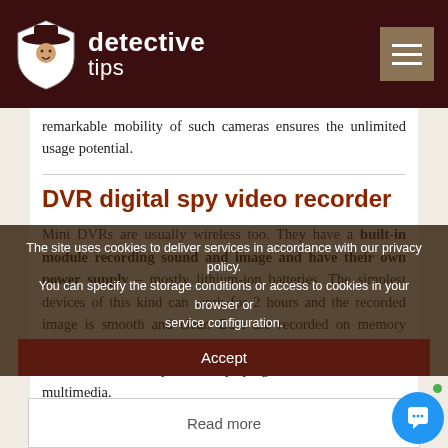detective tips
remarkable mobility of such cameras ensures the unlimited usage potential.
DVR digital spy video recorder
Mini DVRs are usually wireless too. They have a built-in module recording sound and image and have their own power supply – mostly lithium-ion batteries. The simplest devices of this kind can work for 2 hours and the recorded image is smooth and clear. Data are recorded on memory cards – micro SD or SDHD. It enables storing material on a hard drive of a computer and replaying it on most active multimedia.
The site uses cookies to deliver services in accordance with our privacy policy. You can specify the storage conditions or access to cookies in your browser or service configuration.
Accept
Read more